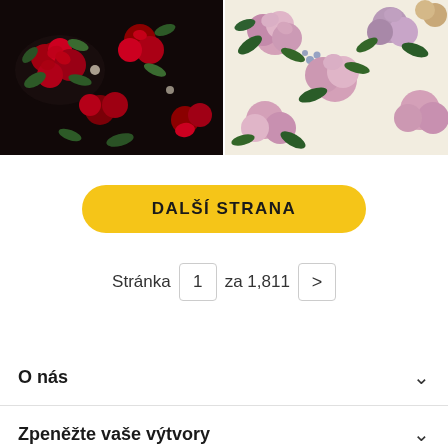[Figure (photo): Two floral fabric pattern images side by side: left is dark/black background with red roses and green leaves, right is cream/light background with pink and purple roses and green leaves]
DALŠÍ STRANA
Stránka 1 za 1,811 >
O nás
Zpeněžte vaše výtvory
Služby